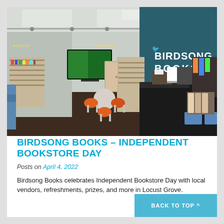[Figure (photo): Interior of Birdsong Books store showing bookshelves, orange chairs around a round table, a TV on the wall with sections labeled ADULTS and CHILDREN, and a dark teal accent wall with BIRDSONG BOOKS logo in white letters. Checkout counter area visible on the right.]
BIRDSONG BOOKS – INDEPENDENT BOOKSTORE DAY
Posts on April 4, 2022
Birdsong Books celebrates Independent Bookstore Day with local vendors, refreshments, prizes, and more in Locust Grove.